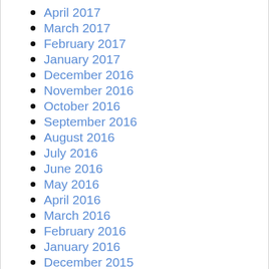April 2017
March 2017
February 2017
January 2017
December 2016
November 2016
October 2016
September 2016
August 2016
July 2016
June 2016
May 2016
April 2016
March 2016
February 2016
January 2016
December 2015
November 2015
October 2015